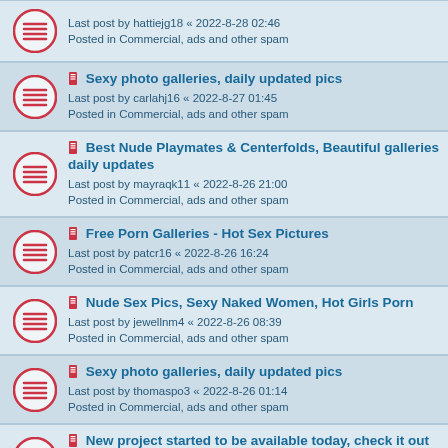Last post by hattiejg18 « 2022-8-28 02:46
Posted in Commercial, ads and other spam
Sexy photo galleries, daily updated pics
Last post by carlahj16 « 2022-8-27 01:45
Posted in Commercial, ads and other spam
Best Nude Playmates & Centerfolds, Beautiful galleries daily updates
Last post by mayraqk11 « 2022-8-26 21:00
Posted in Commercial, ads and other spam
Free Porn Galleries - Hot Sex Pictures
Last post by patcr16 « 2022-8-26 16:24
Posted in Commercial, ads and other spam
Nude Sex Pics, Sexy Naked Women, Hot Girls Porn
Last post by jewellnm4 « 2022-8-26 08:39
Posted in Commercial, ads and other spam
Sexy photo galleries, daily updated pics
Last post by thomaspo3 « 2022-8-26 01:14
Posted in Commercial, ads and other spam
New project started to be available today, check it out
Last post by berthafy69 « 2022-8-25 18:22
Posted in Commercial, ads and other spam
very good post
Last post by Victorkig45678 « 2022-8-25 06:02
Posted in Commercial, ads and other spam
Girls of Desire: All babes in one place, crazy, art
Last post by karlgv1 « 2022-8-25 05:19